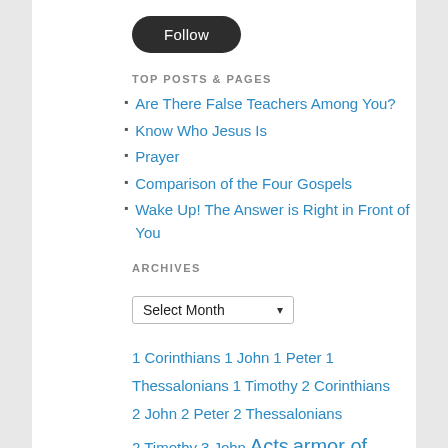[Figure (other): A dark rounded rectangle 'Follow' button with white text]
TOP POSTS & PAGES
Are There False Teachers Among You?
Know Who Jesus Is
Prayer
Comparison of the Four Gospels
Wake Up! The Answer is Right in Front of You
ARCHIVES
[Figure (other): A dropdown select box labeled 'Select Month' with a down arrow]
1 Corinthians  1 John  1 Peter  1 Thessalonians  1 Timothy  2 Corinthians  2 John  2 Peter  2 Thessalonians  2 Timothy  3 John  Acts  armor of God  church  Colossians  Creation  Ephesians  Faith  Family  life  Galatians  Genesis  Gospel  Gospel of